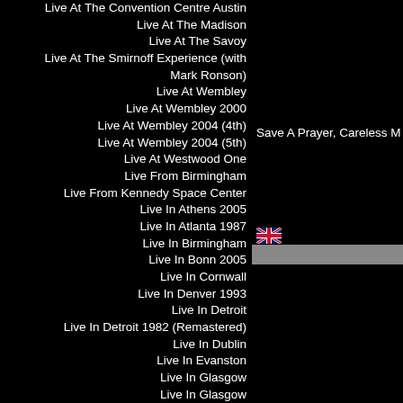Live At The Convention Centre Austin
Live At The Madison
Live At The Savoy
Live At The Smirnoff Experience (with Mark Ronson)
Live At Wembley
Live At Wembley 2000
Live At Wembley 2004 (4th)
Live At Wembley 2004 (5th)
Live At Westwood One
Live From Birmingham
Live From Kennedy Space Center
Live In Athens 2005
Live In Atlanta 1987
Live In Birmingham
Live In Bonn 2005
Live In Cornwall
Live In Denver 1993
Live In Detroit
Live In Detroit 1982 (Remastered)
Live In Dublin
Live In Evanston
Live In Glasgow
Live In Glasgow
Live In Greek Theatre
Live In Halifax
Live In Hartford
Live In Helsinki 1982
Save A Prayer, Careless M
Ap
Rio, Anyone Out The Planet Earth,